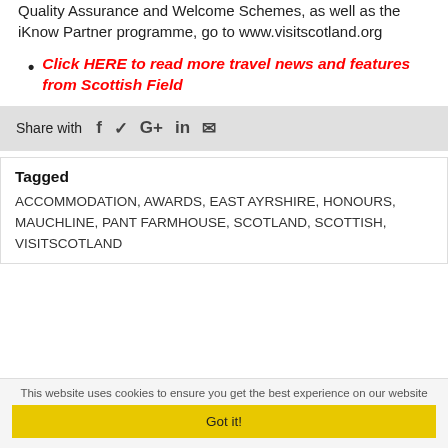Quality Assurance and Welcome Schemes, as well as the iKnow Partner programme, go to www.visitscotland.org
Click HERE to read more travel news and features from Scottish Field
Share with [facebook] [twitter] [google+] [linkedin] [email]
Tagged
ACCOMMODATION, AWARDS, EAST AYRSHIRE, HONOURS, MAUCHLINE, PANT FARMHOUSE, SCOTLAND, SCOTTISH, VISITSCOTLAND
This website uses cookies to ensure you get the best experience on our website
Got it!